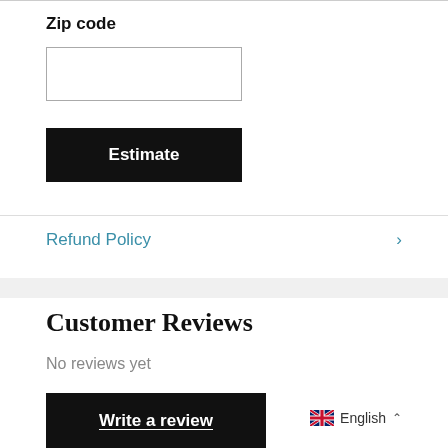Zip code
Estimate
Refund Policy
Customer Reviews
No reviews yet
Write a review
English